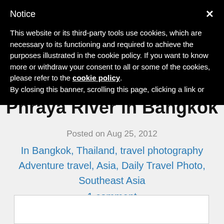Notice
This website or its third-party tools use cookies, which are necessary to its functioning and required to achieve the purposes illustrated in the cookie policy. If you want to know more or withdraw your consent to all or some of the cookies, please refer to the cookie policy.
By closing this banner, scrolling this page, clicking a link or
Phraya River in Bangkok
Posted on Aug 25, 2012
In Bangkok, Thailand, travel photography Adventure travel, Asia, Daily Travel Photo, Southeast Asia
1 comment
[Figure (photo): Blank white image placeholder box at the bottom of the page]